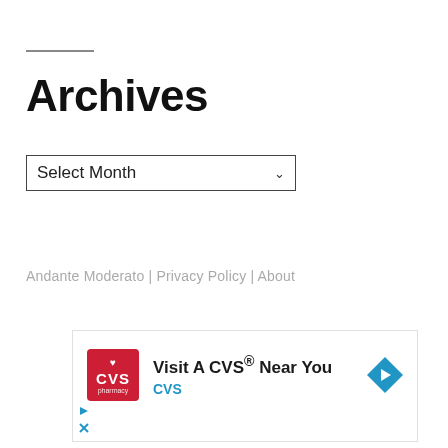Archives
Select Month
Andante Moderato | Privacy Policy | About
[Figure (other): CVS Pharmacy advertisement banner: CVS logo (red background with heart icon), text 'Visit A CVS® Near You' and 'CVS' in blue, blue diamond arrow navigation icon on right.]